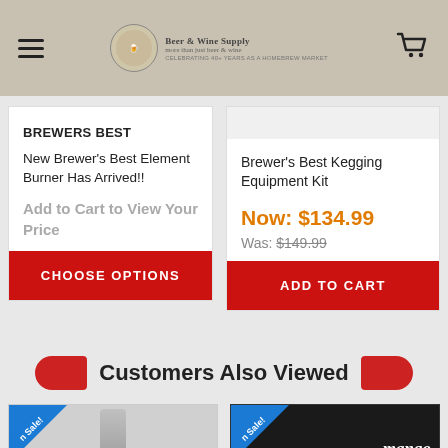[Figure (screenshot): Website header with hamburger menu icon, Beer & Wine Supply logo with circular emblem in center, and shopping cart icon on right]
BREWERS BEST
New Brewer's Best Element Burner Has Arrived!!
Add to Cart to View Your Price
CHOOSE OPTIONS
Brewer's Best Kegging Equipment Kit
Now: $134.99
Was: $149.99
ADD TO CART
Customers Also Viewed
[Figure (photo): Bottom product preview showing a metallic cylindrical item with a blue 'On Sale!' diagonal ribbon banner]
[Figure (photo): Bottom product preview showing a dark chalkboard-style label with 'mango' text and a blue 'On Sale!' diagonal ribbon banner]